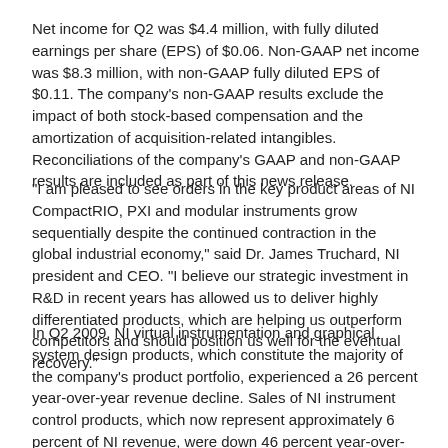Net income for Q2 was $4.4 million, with fully diluted earnings per share (EPS) of $0.06. Non-GAAP net income was $8.3 million, with non-GAAP fully diluted EPS of $0.11. The company's non-GAAP results exclude the impact of both stock-based compensation and the amortization of acquisition-related intangibles. Reconciliations of the company's GAAP and non-GAAP results are included as part of this news release.
"I am pleased to see orders in the key product areas of NI CompactRIO, PXI and modular instruments grow sequentially despite the continued contraction in the global industrial economy," said Dr. James Truchard, NI president and CEO. "I believe our strategic investment in R&D in recent years has allowed us to deliver highly differentiated products, which are helping us outperform competitors and should position us well for the eventual recovery."
In Q2 2009, NI virtual instrumentation and graphical system design products, which constitute the majority of the company's product portfolio, experienced a 26 percent year-over-year revenue decline. Sales of NI instrument control products, which now represent approximately 6 percent of NI revenue, were down 46 percent year-over-year in Q2 2009. Product revenue was $140 million, down 29 percent from Q2 2008, and software maintenance revenue was $12